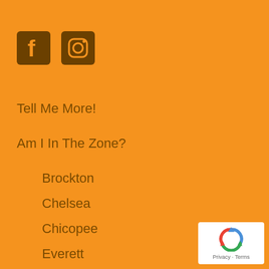[Figure (logo): Facebook and Instagram social media icons on orange background]
Tell Me More!
Am I In The Zone?
Brockton
Chelsea
Chicopee
Everett
Fall River
Fitchburg
[Figure (logo): Google reCAPTCHA badge with Privacy and Terms links]